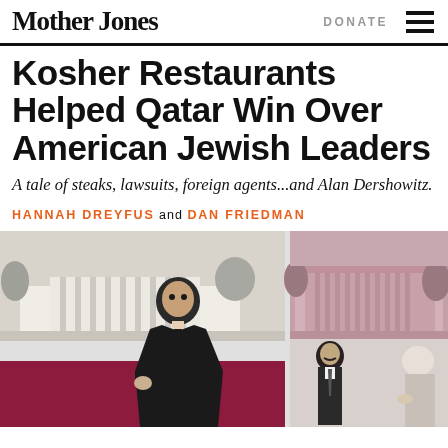Mother Jones | DONATE
Kosher Restaurants Helped Qatar Win Over American Jewish Leaders
A tale of steaks, lawsuits, foreign agents...and Alan Dershowitz.
HANNAH DREYFUS and DAN FRIEDMAN
[Figure (photo): Composite image showing a man in a black suit standing in front of a black-and-white image of the White House on the left, and a maroon-tinted image of the White House with two men in suits on the right, with the Qatar flag (maroon and white) visible in the lower left portion.]